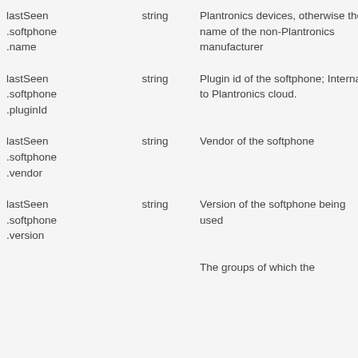| Field | Type | Description |
| --- | --- | --- |
| lastSeen.softphone.name | string | Plantronics devices, otherwise the name of the non-Plantronics manufacturer |
| lastSeen.softphone.pluginId | string | Plugin id of the softphone; Internal to Plantronics cloud. |
| lastSeen.softphone.vendor | string | Vendor of the softphone |
| lastSeen.softphone.version | string | Version of the softphone being used |
|  |  | The groups of which the |